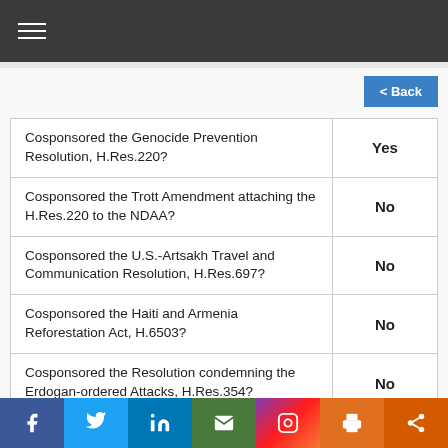Navigation menu header bar
| Question | Answer |
| --- | --- |
| Cosponsored the Genocide Prevention Resolution, H.Res.220? | Yes |
| Cosponsored the Trott Amendment attaching the H.Res.220 to the NDAA? | No |
| Cosponsored the U.S.-Artsakh Travel and Communication Resolution, H.Res.697? | No |
| Cosponsored the Haiti and Armenia Reforestation Act, H.6503? | No |
| Cosponsored the Resolution condemning the Erdogan-ordered Attacks, H.Res.354? | No |
Social share bar: Facebook, Twitter, LinkedIn, Email, Instagram, Print, Share